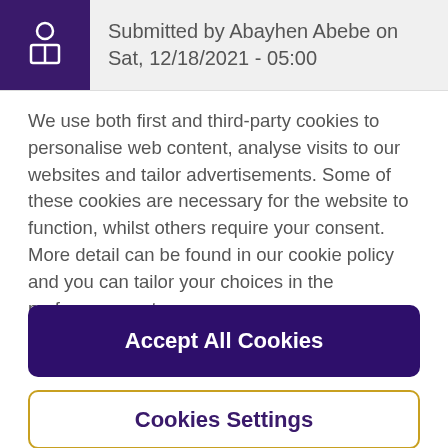Submitted by Abayhen Abebe on Sat, 12/18/2021 - 05:00
We use both first and third-party cookies to personalise web content, analyse visits to our websites and tailor advertisements. Some of these cookies are necessary for the website to function, whilst others require your consent. More detail can be found in our cookie policy and you can tailor your choices in the preference centre.
Accept All Cookies
Cookies Settings